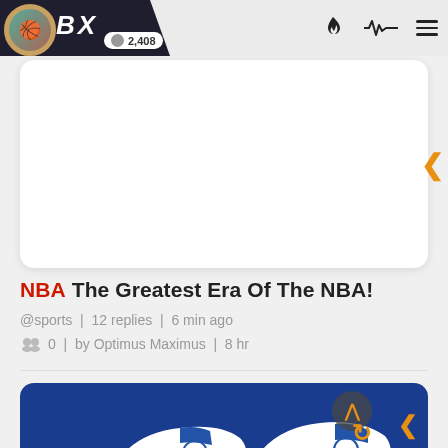BX | 2,408
[Figure (screenshot): White content card, partially visible]
NBA The Greatest Era Of The NBA!
@sports | 12 replies | 6 min ago
0 | by Optimus Maximus | 8 hr
[Figure (photo): Jordan sneakers (Air Jordan 4) on blue background card]